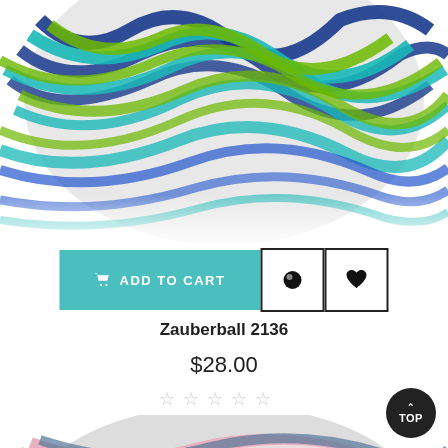[Figure (photo): Top portion of a colorful yarn ball in blue, green, and teal colors on a white background]
[Figure (infographic): Add to cart button in teal color with shopping cart icon, followed by two icon boxes: one with a circle/dot icon and one with a heart icon]
Zauberball 2136
$28.00
[Figure (infographic): Five empty/unfilled star rating icons in light gray]
[Figure (photo): Bottom portion of a colorful yarn ball in green, pink, blue and white mixed colors]
[Figure (infographic): TOP navigation button — circular dark button with upward arrow and text TOP]